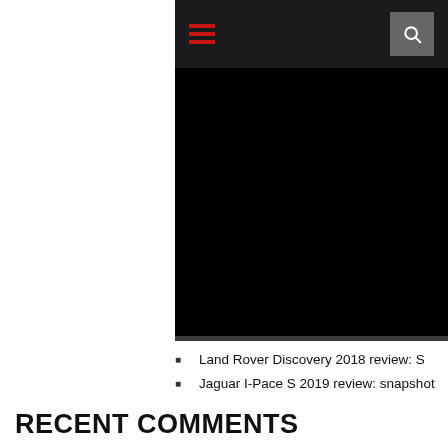[Figure (photo): Black rectangle representing a dark/blank image area with a navigation header bar at top containing a red hamburger menu icon and a grey search icon box]
Land Rover Discovery 2018 review: S
Jaguar I-Pace S 2019 review: snapshot
Tesla Model S P100D 2017 review
Check out This Ultra-Basic Jeep Cherokee
2018 GMC Sierra vs. 2019 GMC Sierra: What's the Difference?
RECENT COMMENTS